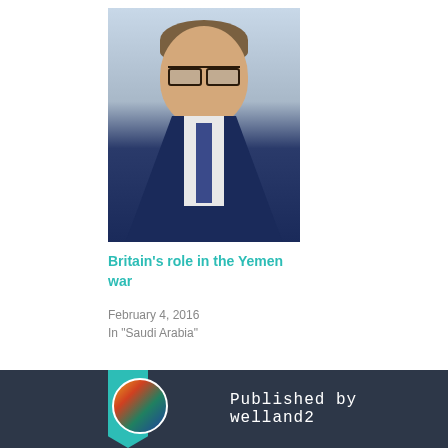[Figure (photo): Headshot of a man in a dark navy suit with a blue tie and glasses, smiling, with a light blurred background]
Britain’s role in the Yemen war
February 4, 2016
In "Saudi Arabia"
Published by welland2